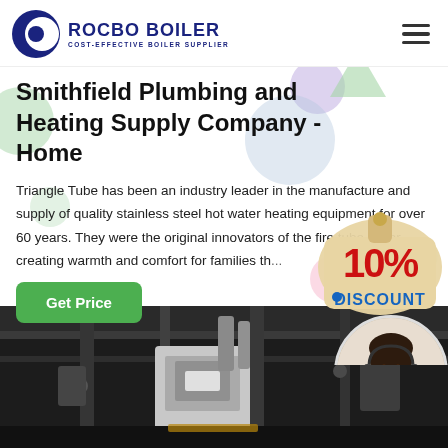[Figure (logo): Rocbo Boiler logo with crescent moon/C shape icon, text ROCBO BOILER and subtitle COST-EFFECTIVE BOILER SUPPLIER in dark blue]
Smithfield Plumbing and Heating Supply Company - Home
Triangle Tube has been an industry leader in the manufacture and supply of quality stainless steel hot water heating equipment for over 60 years. They were the original innovators of the fire tube boiler, creating warmth and comfort for families th...
[Figure (illustration): 10% DISCOUNT badge/sticker in red and blue text on a beige/tan hanging tag background with decorative colored bubbles]
[Figure (photo): Customer service representative woman wearing headset, smiling, in circular portrait frame]
[Figure (photo): Boiler room photo showing industrial boiler equipment with pipes and machinery in dark industrial setting]